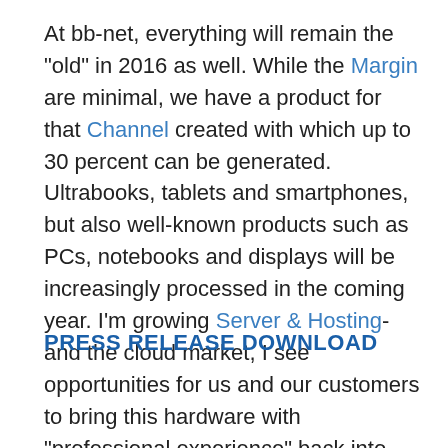At bb-net, everything will remain the "old" in 2016 as well. While the Margin are minimal, we have a product for that Channel created with which up to 30 percent can be generated. Ultrabooks, tablets and smartphones, but also well-known products such as PCs, notebooks and displays will be increasingly processed in the coming year. I'm growing Server & Hosting- and the cloud market, I see opportunities for us and our customers to bring this hardware with "professional experience" back into use.
PRESS RELEASE DOWNLOAD
|  |  |
| --- | --- |
| itbusiness_chefsache2016.pdf | Download |
|  | Download |